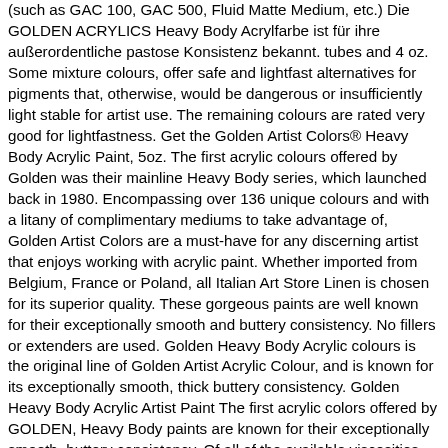(such as GAC 100, GAC 500, Fluid Matte Medium, etc.) Die GOLDEN ACRYLICS Heavy Body Acrylfarbe ist für ihre außerordentliche pastose Konsistenz bekannt. tubes and 4 oz. Some mixture colours, offer safe and lightfast alternatives for pigments that, otherwise, would be dangerous or insufficiently light stable for artist use. The remaining colours are rated very good for lightfastness. Get the Golden Artist Colors® Heavy Body Acrylic Paint, 5oz. The first acrylic colours offered by Golden was their mainline Heavy Body series, which launched back in 1980. Encompassing over 136 unique colours and with a litany of complimentary mediums to take advantage of, Golden Artist Colors are a must-have for any discerning artist that enjoys working with acrylic paint. Whether imported from Belgium, France or Poland, all Italian Art Store Linen is chosen for its superior quality. These gorgeous paints are well known for their exceptionally smooth and buttery consistency. No fillers or extenders are used. Golden Heavy Body Acrylic colours is the original line of Golden Artist Acrylic Colour, and is known for its exceptionally smooth, thick buttery consistency. Golden Heavy Body Acrylic Artist Paint The first acrylic colors offered by GOLDEN, Heavy Body paints are known for their exceptionally smooth, buttery consistency. Of all of the available viscosities, heavy body acrylics generally provide the best coverage. Jars. The Heavy Body palette includes the largest assortment of unique pure pigments in a 100% acrylic emulsion